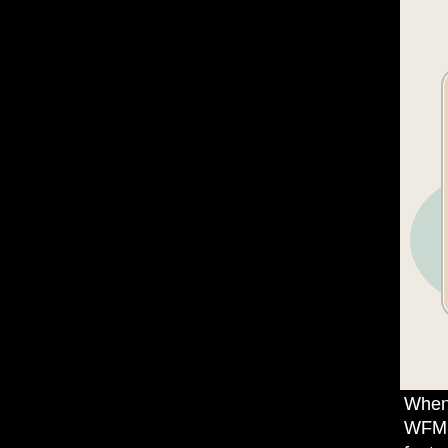[Figure (photo): Product box for 'EVC Douche' showing a woman in a white tank top with text 'Enjoy Being a Woman' at the bottom of the box]
When I used to do a show on WFMU, I had a semi-regular feature called "Douche of the Week," and that's why I keep thinking about this story: Which one was the bigger douche? Chen, for being a whiny little attention-seeking fuck-up, or Lai for being a crabby old